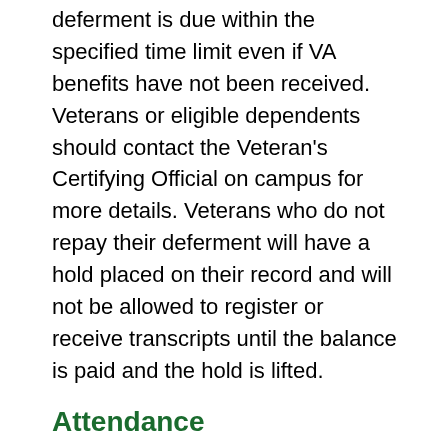deferment is due within the specified time limit even if VA benefits have not been received. Veterans or eligible dependents should contact the Veteran's Certifying Official on campus for more details. Veterans who do not repay their deferment will have a hold placed on their record and will not be allowed to register or receive transcripts until the balance is paid and the hold is lifted.
Attendance
Punctual and regular attendance is encouraged in all courses, and it is the student's responsibility to be aware of each